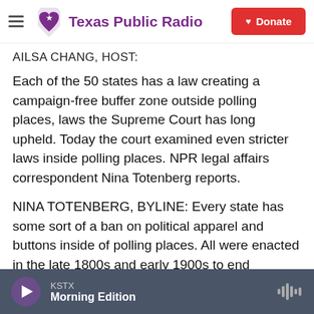Texas Public Radio — Donate
AILSA CHANG, HOST:
Each of the 50 states has a law creating a campaign-free buffer zone outside polling places, laws the Supreme Court has long upheld. Today the court examined even stricter laws inside polling places. NPR legal affairs correspondent Nina Totenberg reports.
NINA TOTENBERG, BYLINE: Every state has some sort of a ban on political apparel and buttons inside of polling places. All were enacted in the late 1800s and early 1900s to end rampant violence and intimidation on election days. Minnesota and some
KSTX — Morning Edition